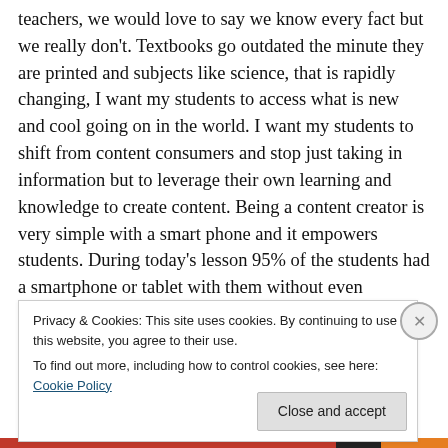teachers, we would love to say we know every fact but we really don't. Textbooks go outdated the minute they are printed and subjects like science, that is rapidly changing, I want my students to access what is new and cool going on in the world. I want my students to shift from content consumers and stop just taking in information but to leverage their own learning and knowledge to create content. Being a content creator is very simple with a smart phone and it empowers students. During today's lesson 95% of the students had a smartphone or tablet with them without even knowing we were using them
Privacy & Cookies: This site uses cookies. By continuing to use this website, you agree to their use.
To find out more, including how to control cookies, see here: Cookie Policy